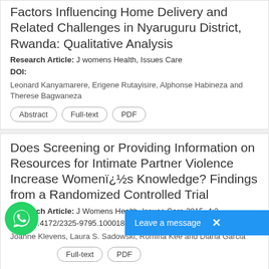Factors Influencing Home Delivery and Related Challenges in Nyaruguru District, Rwanda: Qualitative Analysis
Research Article: J womens Health, Issues Care
DOI:
Leonard Kanyamarere, Erigene Rutayisire, Alphonse Habineza and Therese Bagwaneza
Abstract | Full-text | PDF
Does Screening or Providing Information on Resources for Intimate Partner Violence Increase Womenï¿½s Knowledge? Findings from a Randomized Controlled Trial
Research Article: J Womens Health, Issues Care 2015, 4:2
DOI: 10.4172/2325-9795.1000181
Joanne Klevens, Laura S. Sadowski, Romina Kee and Diana Garcia
Abstract | Full-text | PDF
Knowledge, Attitude, and P...